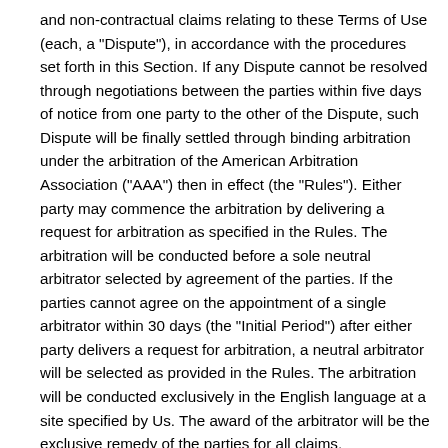and non-contractual claims relating to these Terms of Use (each, a "Dispute"), in accordance with the procedures set forth in this Section. If any Dispute cannot be resolved through negotiations between the parties within five days of notice from one party to the other of the Dispute, such Dispute will be finally settled through binding arbitration under the arbitration of the American Arbitration Association ("AAA") then in effect (the "Rules"). Either party may commence the arbitration by delivering a request for arbitration as specified in the Rules. The arbitration will be conducted before a sole neutral arbitrator selected by agreement of the parties. If the parties cannot agree on the appointment of a single arbitrator within 30 days (the "Initial Period") after either party delivers a request for arbitration, a neutral arbitrator will be selected as provided in the Rules. The arbitration will be conducted exclusively in the English language at a site specified by Us. The award of the arbitrator will be the exclusive remedy of the parties for all claims, counterclaims, issues or accountings presented or plead to the arbitrator. The award of the arbitrators will require